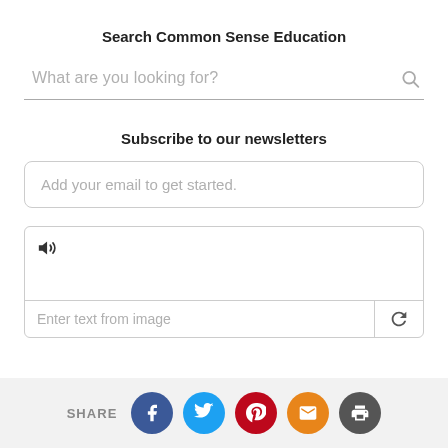Search Common Sense Education
What are you looking for?
Subscribe to our newsletters
Add your email to get started.
[Figure (screenshot): CAPTCHA widget with speaker icon and text input field saying 'Enter text from image' with a refresh button]
SHARE [Facebook] [Twitter] [Pinterest] [Email] [Print]